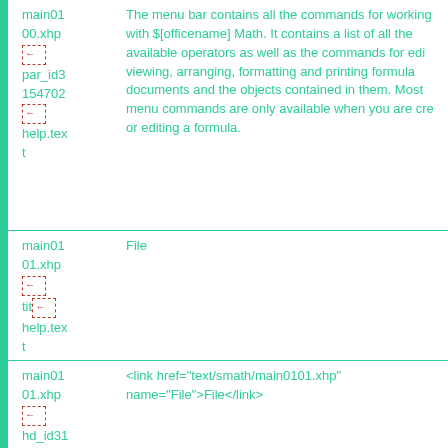|  |  |
| --- | --- |
| main01
00.xhp
[icon]
par_id3
154702
[icon]
help.text | The menu bar contains all the commands for working with $[officename] Math. It contains a list of all the available operators as well as the commands for editing, viewing, arranging, formatting and printing formula documents and the objects contained in them. Most menu commands are only available when you are creating or editing a formula. |
| main01
01.xhp
[icon]
tit[icon]
help.text | File |
| main01
01.xhp
[icon]
hd_id31 | <link href="text/smath/main0101.xhp" name="File">File</link> |